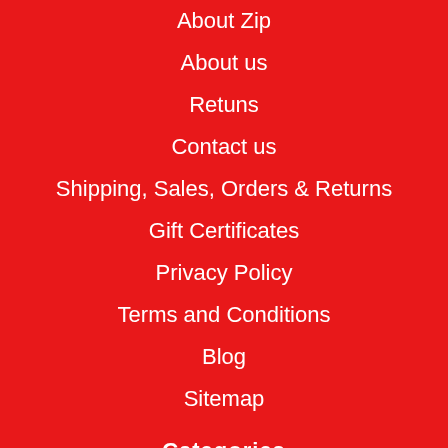About Zip
About us
Retuns
Contact us
Shipping, Sales, Orders & Returns
Gift Certificates
Privacy Policy
Terms and Conditions
Blog
Sitemap
Categories
SPRING SALE
CAR AUDIO